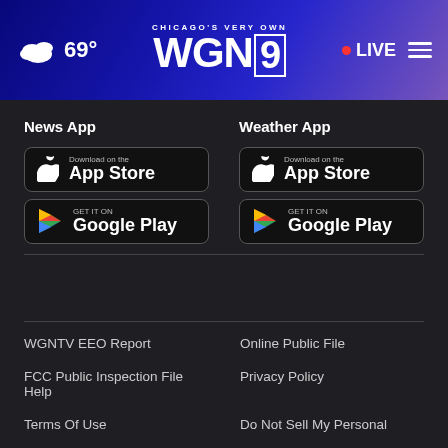Chicago's Very Own WGN9 | 69° | LIVE
News App
[Figure (screenshot): Download on the App Store button for News App]
[Figure (screenshot): GET IT ON Google Play button for News App]
Weather App
[Figure (screenshot): Download on the App Store button for Weather App]
[Figure (screenshot): GET IT ON Google Play button for Weather App]
WGNTV EEO Report
Online Public File
FCC Public Inspection File Help
Privacy Policy
Terms Of Use
Do Not Sell My Personal